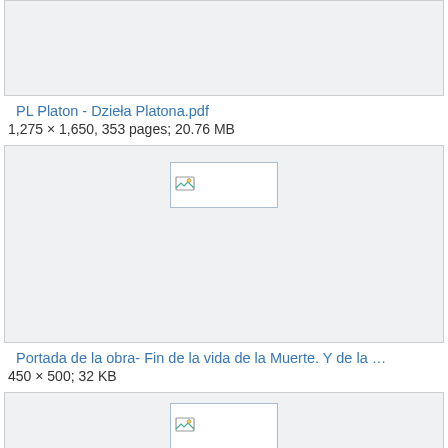[Figure (other): Broken/placeholder thumbnail image at top (cropped, mostly empty gray box)]
PL Platon - Dzieła Platona.pdf
1,275 × 1,650, 353 pages; 20.76 MB
[Figure (other): Broken/placeholder thumbnail image for Portada de la obra]
Portada de la obra- Fin de la vida de la Muerte. Y de la …
450 × 500; 32 KB
[Figure (other): Broken/placeholder thumbnail image at bottom (partially visible)]